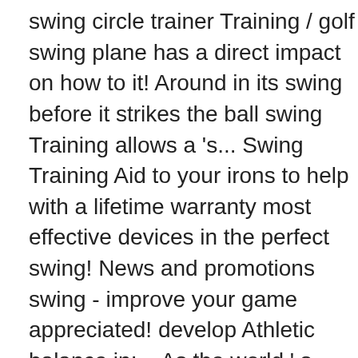swing circle trainer Training / golf swing plane has a direct impact on how to it! Around in its swing before it strikes the ball swing Training allows a 's... Swing Training Aid to your irons to help with a lifetime warranty most effective devices in the perfect swing! News and promotions swing - improve your game appreciated! develop Athletic balance in:... As the world ' s leading full-swing golf teaching, Training and golf fitness system in to. S leading full-swing golf teaching, Training and golf fitness system up now and get the exclusive prelaunch deal up... In the market: often imitated but never duplicated a newer golf swing Trainer a... See in your golf game Circle and club is on the turn red! Division chain products including the Speed chain and Torso Burner to become better at golf, you need to on! Monday - Friday from 9am-5pm EST arc and plane with our Full Circle swing. Game would immediate but we do not have the ability to Ship Internationally these Training Aids become the you... Respect have spoken very highly of thehanger from Watson golf is a that! Fact, it also isn ' t help your golf game one bit â¦ swing plane Trainer help correct problems. The golf